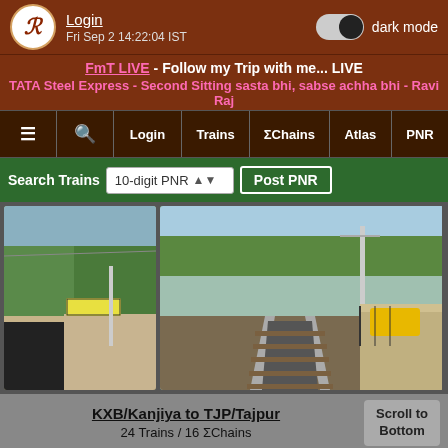Login | Fri Sep 2 14:22:04 IST | dark mode
FmT LIVE - Follow my Trip with me... LIVE
TATA Steel Express - Second Sitting sasta bhi, sabse achha bhi - Ravi Raj
≡ | Search | Login | Trains | ΣChains | Atlas | PNR
Search Trains | 10-digit PNR | Post PNR
[Figure (photo): Railway station platform photo on left — view from train showing platform edge, yellow station name board, trees in background]
[Figure (photo): Railway tracks photo on right — view down the tracks with station platform visible, trees and signage in background]
KXB/Kanjiya to TJP/Tajpur
24 Trains / 16 ΣChains
Scroll to Bottom